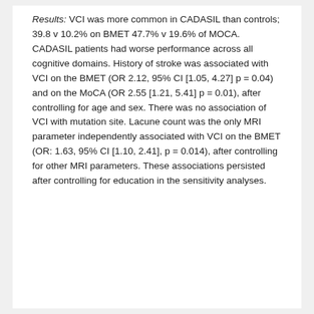Results: VCI was more common in CADASIL than controls; 39.8 v 10.2% on BMET 47.7% v 19.6% of MOCA. CADASIL patients had worse performance across all cognitive domains. History of stroke was associated with VCI on the BMET (OR 2.12, 95% CI [1.05, 4.27] p = 0.04) and on the MoCA (OR 2.55 [1.21, 5.41] p = 0.01), after controlling for age and sex. There was no association of VCI with mutation site. Lacune count was the only MRI parameter independently associated with VCI on the BMET (OR: 1.63, 95% CI [1.10, 2.41], p = 0.014), after controlling for other MRI parameters. These associations persisted after controlling for education in the sensitivity analyses.